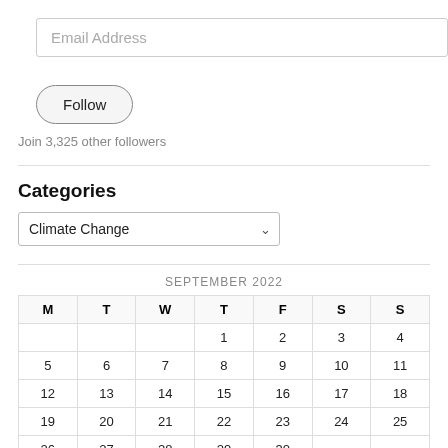Email Address
Follow
Join 3,325 other followers
Categories
Climate Change
| M | T | W | T | F | S | S |
| --- | --- | --- | --- | --- | --- | --- |
|  |  |  | 1 | 2 | 3 | 4 |
| 5 | 6 | 7 | 8 | 9 | 10 | 11 |
| 12 | 13 | 14 | 15 | 16 | 17 | 18 |
| 19 | 20 | 21 | 22 | 23 | 24 | 25 |
| 26 | 27 | 28 | 29 | 30 |  |  |